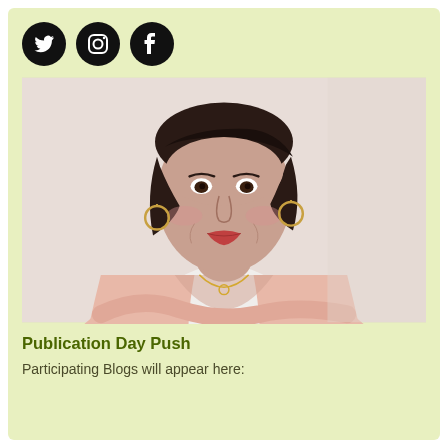[Figure (illustration): Three social media icons in black circles: Twitter bird, Instagram camera, Facebook f]
[Figure (photo): Portrait photo of a woman with short dark hair, wearing a pink cardigan and white top, smiling at camera]
Publication Day Push
Participating Blogs will appear here: